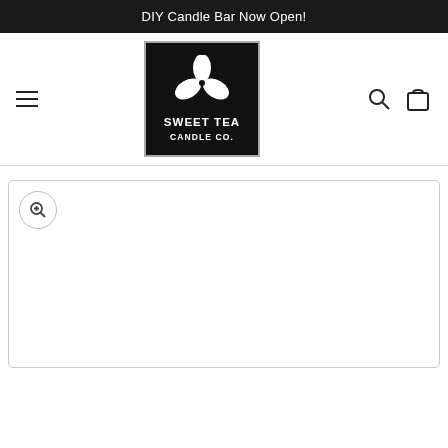DIY Candle Bar Now Open!
[Figure (logo): Sweet Tea Candle Co. logo — black square with white border containing three leaf/petal shapes arranged in a trefoil pattern above the text SWEET TEA CANDLE CO. in white]
[Figure (other): Product image gallery area with a zoom/magnify button in the top-left corner; image content area is white/blank]